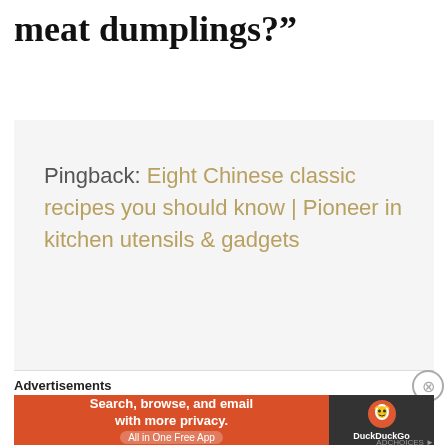meat dumplings?”
Pingback: Eight Chinese classic recipes you should know | Pioneer in kitchen utensils & gadgets
Advertisements
[Figure (screenshot): DuckDuckGo advertisement banner: orange section with text 'Search, browse, and email with more privacy. All in One Free App' and dark section with DuckDuckGo duck logo and DuckDuckGo text]